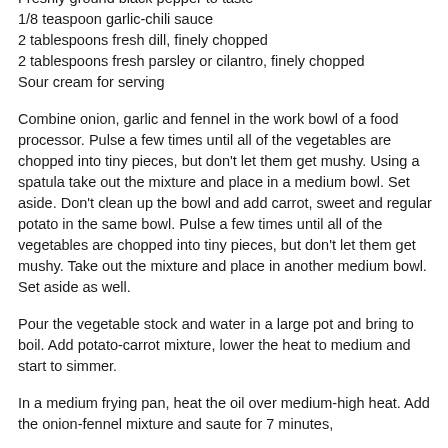Freshly ground black pepper to taste
1/8 teaspoon garlic-chili sauce
2 tablespoons fresh dill, finely chopped
2 tablespoons fresh parsley or cilantro, finely chopped
Sour cream for serving
Combine onion, garlic and fennel in the work bowl of a food processor. Pulse a few times until all of the vegetables are chopped into tiny pieces, but don't let them get mushy. Using a spatula take out the mixture and place in a medium bowl. Set aside. Don't clean up the bowl and add carrot, sweet and regular potato in the same bowl. Pulse a few times until all of the vegetables are chopped into tiny pieces, but don't let them get mushy. Take out the mixture and place in another medium bowl. Set aside as well.
Pour the vegetable stock and water in a large pot and bring to boil. Add potato-carrot mixture, lower the heat to medium and start to simmer.
In a medium frying pan, heat the oil over medium-high heat. Add the onion-fennel mixture and saute for 7 minutes,